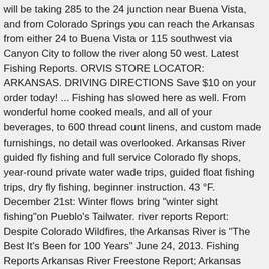will be taking 285 to the 24 junction near Buena Vista, and from Colorado Springs you can reach the Arkansas from either 24 to Buena Vista or 115 southwest via Canyon City to follow the river along 50 west. Latest Fishing Reports. ORVIS STORE LOCATOR: ARKANSAS. DRIVING DIRECTIONS Save $10 on your order today! ... Fishing has slowed here as well. From wonderful home cooked meals, and all of your beverages, to 600 thread count linens, and custom made furnishings, no detail was overlooked. Arkansas River guided fly fishing and full service Colorado fly shops, year-round private water wade trips, guided float fishing trips, dry fly fishing, beginner instruction. 43 °F. December 21st: Winter flows bring "winter sight fishing"on Pueblo's Tailwater. river reports Report: Despite Colorado Wildfires, the Arkansas River is "The Best It's Been for 100 Years" June 24, 2013. Fishing Reports Arkansas River Freestone Report; Arkansas River Tailwater Report; South Platte River Report; Spinney Reservoir Report : Learn Fly Casting; Line Management; Knot Tying; Fly Tying; Fly Selection; Gear Selection; Favorite Patterns; Events & Classes Event Calendar; Fly Fishing 101; Fly